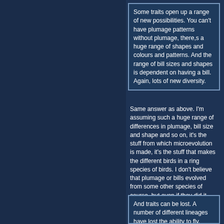Some traits open up a range of new possibilities. You can't have plumage patterns without plumage, there,s a huge range of shapes and colours and patterns. And the range of bill sizes and shapes is dependent on having a bill. Again, lots of new diversity.
Same answer as above. I'm assuming such a huge range of differences in plumage, bill size and shape and so on, it's the stuff from which microevolution is made, it's the stuff that makes the different birds in a ring species of birds. I don't believe that plumage or bills evolved from some other species of course, but even if they did it would be by the same methods I'm describing here.
And traits can be lost. A number of different lineages have lost the ability to fly. Penguins are adapted for swimming, ostriches and similar birds are too large for efficient muscle-powered flight.